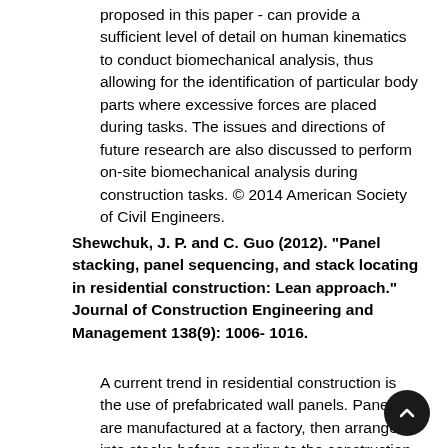proposed in this paper - can provide a sufficient level of detail on human kinematics to conduct biomechanical analysis, thus allowing for the identification of particular body parts where excessive forces are placed during tasks. The issues and directions of future research are also discussed to perform on-site biomechanical analysis during construction tasks. © 2014 American Society of Civil Engineers.
Shewchuk, J. P. and C. Guo (2012). "Panel stacking, panel sequencing, and stack locating in residential construction: Lean approach." Journal of Construction Engineering and Management 138(9): 1006- 1016.
A current trend in residential construction is the use of prefabricated wall panels. Panels are manufactured at a factory, then arranged into stacks before sending to the construction site...